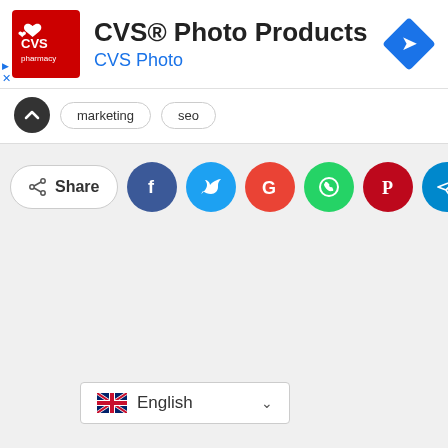[Figure (screenshot): CVS Pharmacy advertisement banner with red logo, title 'CVS® Photo Products', subtitle 'CVS Photo', and a blue diamond arrow icon on the right]
marketing   seo
[Figure (infographic): Share button row with Share pill button followed by social media circle buttons: Facebook, Twitter, Google, WhatsApp, Pinterest, Telegram, LinkedIn]
English